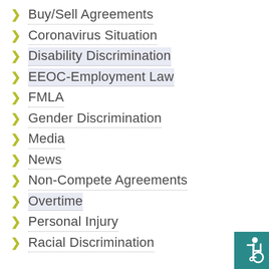Buy/Sell Agreements
Coronavirus Situation
Disability Discrimination
EEOC-Employment Law
FMLA
Gender Discrimination
Media
News
Non-Compete Agreements
Overtime
Personal Injury
Racial Discrimination
[Figure (illustration): Accessibility icon — white wheelchair user symbol on teal background, bottom right corner]